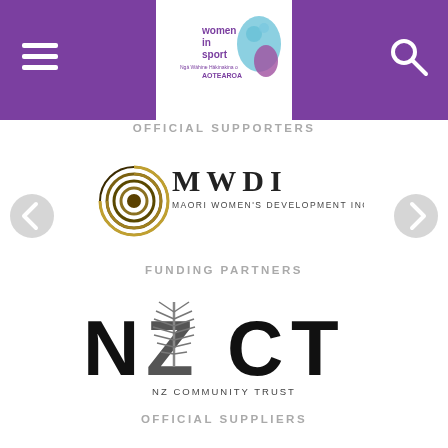Women in Sport – Ngā Wāhine Hākinakina o Aotearoa
OFFICIAL SUPPORTERS
[Figure (logo): MWDI – Maori Women's Development Inc logo: circular koru spiral in gold/dark tones with text 'MWDI MAORI WOMEN'S DEVELOPMENT INC']
FUNDING PARTNERS
[Figure (logo): NZCT – NZ Community Trust logo: large bold letters NZCT with silver fern graphic and text 'NZ COMMUNITY TRUST' beneath]
OFFICIAL SUPPLIERS